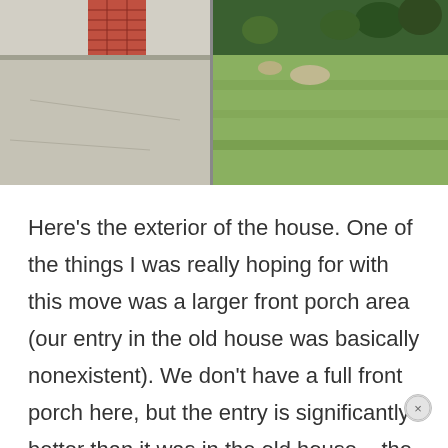[Figure (photo): Two-panel exterior photo of a house. Left panel shows a brick corner of the house with a concrete porch/driveway area. Right panel shows a grassy yard area with green shrubs and plants along the top edge.]
Here's the exterior of the house. One of the things I was really hoping for with this move was a larger front porch area (our entry in the old house was basically nonexistent). We don't have a full front porch here, but the entry is significantly better than it was in the old house – the previous owners left this little bench and a bunch of plants, so we still need to clean up and decide what we're going to do out here. I'm thinking we'll fill the area next to